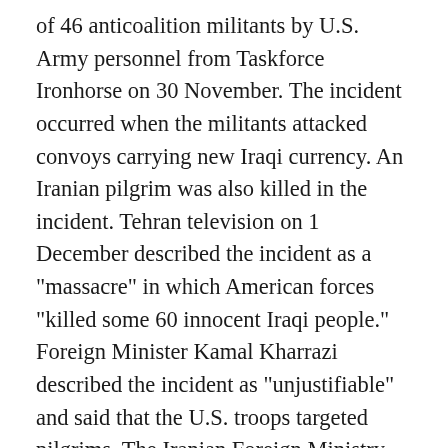of 46 anticoalition militants by U.S. Army personnel from Taskforce Ironhorse on 30 November. The incident occurred when the militants attacked convoys carrying new Iraqi currency. An Iranian pilgrim was also killed in the incident. Tehran television on 1 December described the incident as a "massacre" in which American forces "killed some 60 innocent Iraqi people." Foreign Minister Kamal Kharrazi described the incident as "unjustifiable" and said that the U.S. troops targeted pilgrims. The Iranian Foreign Ministry on 1 December summoned Swiss Ambassador to Tehran Tim Guldimann to hear its protest over the Iranian pilgrim's death, IRNA reported. Switzerland represents U.S. interests in Iran because Tehran and Washington do not have diplomatic relations.
Samarra is the site of shrines to Imam Hadi and